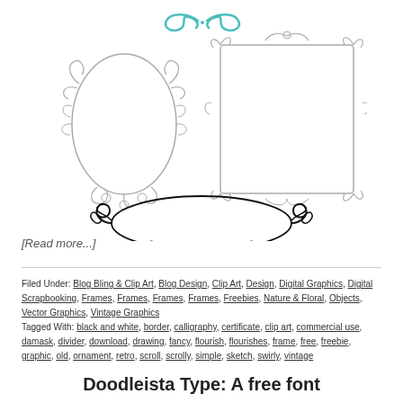[Figure (illustration): Three decorative vintage frames: top row shows a floral oval frame and an ornate rectangular frame in gray/sketch style; bottom shows an oval frame with swirly scroll decorations in black line art, plus a small teal/turquoise decorative flourish at the very top.]
[Read more...]
Filed Under: Blog Bling & Clip Art, Blog Design, Clip Art, Design, Digital Graphics, Digital Scrapbooking, Frames, Frames, Frames, Frames, Freebies, Nature & Floral, Objects, Vector Graphics, Vintage Graphics
Tagged With: black and white, border, calligraphy, certificate, clip art, commercial use, damask, divider, download, drawing, fancy, flourish, flourishes, frame, free, freebie, graphic, old, ornament, retro, scroll, scrolly, simple, sketch, swirly, vintage
Doodleista Type: A free font